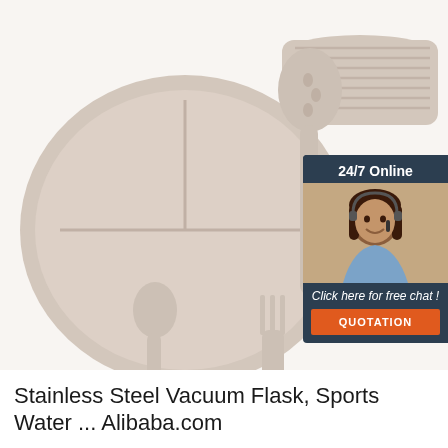[Figure (photo): Silicone baby feeding set including a divided plate, bowl, spoon, fork, and spatula in muted pink/beige tones with wooden handles. A customer service chat widget overlay in dark blue shows '24/7 Online' text, a smiling woman with headset, 'Click here for free chat!' text, and an orange QUOTATION button. A red TOP logo watermark appears bottom right.]
Stainless Steel Vacuum Flask, Sports Water ... Alibaba.com